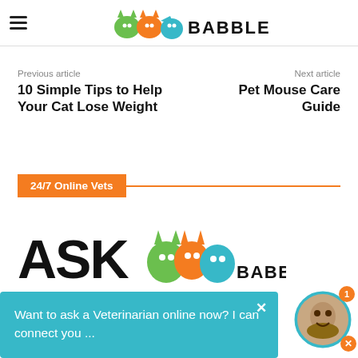[Figure (logo): VetBabble logo with colorful animal icons and BABBLE text]
Previous article
10 Simple Tips to Help Your Cat Lose Weight
Next article
Pet Mouse Care Guide
24/7 Online Vets
[Figure (logo): Ask VetBabble logo with colorful animal icons]
Want to ask a Veterinarian online now? I can connect you ...